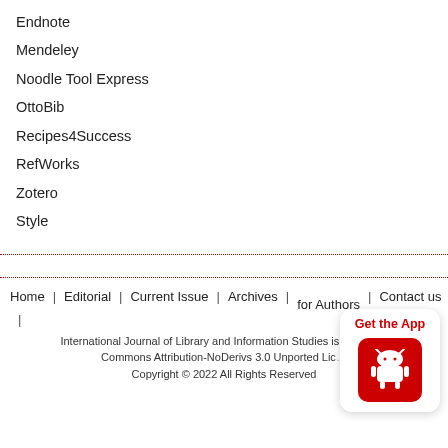Endnote
Mendeley
Noodle Tool Express
OttoBib
Recipes4Success
RefWorks
Zotero
Style
Home | Editorial | Current Issue | Archives | for Authors | Contact us |
International Journal of Library and Information Studies is licensed ... Commons Attribution-NoDerivs 3.0 Unported Lic... Copyright © 2022 All Rights Reserved